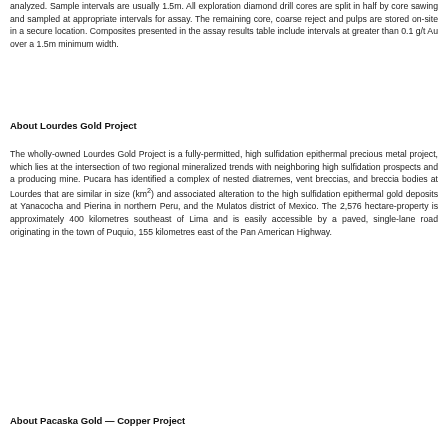analyzed. Sample intervals are usually 1.5m. All exploration diamond drill cores are split in half by core sawing and sampled at appropriate intervals for assay. The remaining core, coarse reject and pulps are stored on-site in a secure location. Composites presented in the assay results table include intervals at greater than 0.1 g/t Au over a 1.5m minimum width.
About Lourdes Gold Project
The wholly-owned Lourdes Gold Project is a fully-permitted, high sulfidation epithermal precious metal project, which lies at the intersection of two regional mineralized trends with neighboring high sulfidation prospects and a producing mine. Pucara has identified a complex of nested diatremes, vent breccias, and breccia bodies at Lourdes that are similar in size (km²) and associated alteration to the high sulfidation epithermal gold deposits at Yanacocha and Pierina in northern Peru, and the Mulatos district of Mexico. The 2,576 hectare-property is approximately 400 kilometres southeast of Lima and is easily accessible by a paved, single-lane road originating in the town of Puquio, 155 kilometres east of the Pan American Highway.
About Pacaska Gold — Copper Project